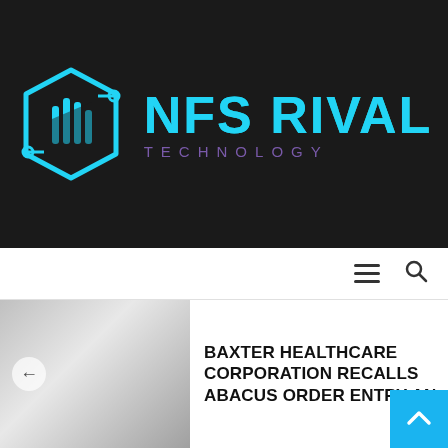[Figure (logo): NFS RIVAL TECHNOLOGY logo on dark background. Hexagonal circuit-board icon in cyan/blue on left, text 'NFS RIVAL' in large cyan bold letters and 'TECHNOLOGY' in smaller purple/blue letters on right.]
[Figure (infographic): Navigation bar with hamburger menu icon (three horizontal lines) and search icon (magnifying glass) on white background.]
[Figure (photo): Gray gradient placeholder image with a back-arrow circle button on the left side.]
BAXTER HEALTHCARE CORPORATION RECALLS ABACUS ORDER ENTRY AN